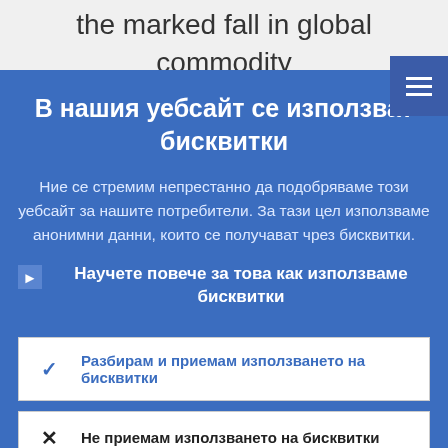the marked fall in global commodity prices, and in particular oil prices, over
В нашия уебсайт се използват бисквитки
Ние се стремим непрестанно да подобряваме този уебсайт за нашите потребители. За тази цел използваме анонимни данни, които се получават чрез бисквитки.
Научете повече за това как използваме бисквитки
Разбирам и приемам използването на бисквитки
Не приемам използването на бисквитки